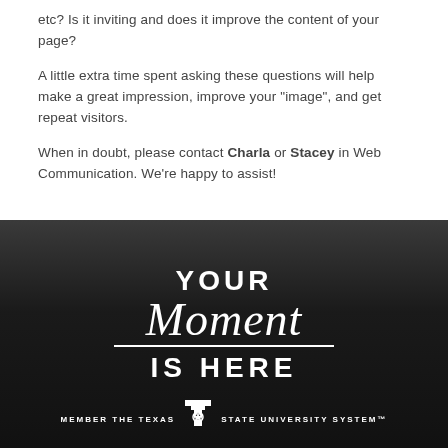etc?  Is it inviting and does it improve the content of your page?
A little extra time spent asking these questions will help make a great impression, improve your "image", and get repeat visitors.
When in doubt, please contact Charla or Stacey in Web Communication.  We're happy to assist!
[Figure (illustration): Dark gradient banner with white text reading 'YOUR Moment IS HERE' in a stylized font, with a decorative underline beneath 'Moment'. Below is the Texas State University System member logo with text 'MEMBER THE TEXAS STATE UNIVERSITY SYSTEM'.]